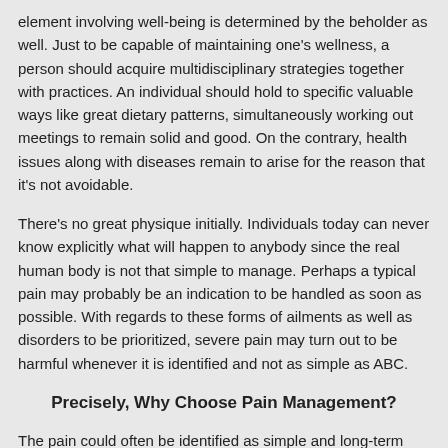element involving well-being is determined by the beholder as well. Just to be capable of maintaining one's wellness, a person should acquire multidisciplinary strategies together with practices. An individual should hold to specific valuable ways like great dietary patterns, simultaneously working out meetings to remain solid and good. On the contrary, health issues along with diseases remain to arise for the reason that it's not avoidable.
There's no great physique initially. Individuals today can never know explicitly what will happen to anybody since the real human body is not that simple to manage. Perhaps a typical pain may probably be an indication to be handled as soon as possible. With regards to these forms of ailments as well as disorders to be prioritized, severe pain may turn out to be harmful whenever it is identified and not as simple as ABC.
Precisely, Why Choose Pain Management?
The pain could often be identified as simple and long-term pain. The simple discomfort is some sort of minor form which might be avoidable using fewer meds. The second is considered a sign which stays for a particularly prolonged period. It is the category of pain and discomfort